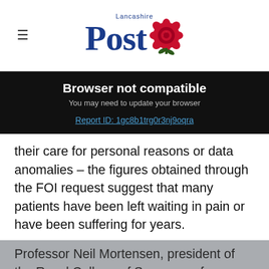[Figure (logo): Lancashire Post newspaper logo with Lancashire text above, Post in large serif font, and red rose graphic]
Browser not compatible
You may need to update your browser
Report ID: 1gc8b1trg0r3nj9oqra
their care for personal reasons or data anomalies – the figures obtained through the FOI request suggest that many patients have been left waiting in pain or have been suffering for years.
Professor Neil Mortensen, president of the Royal College of Surgeons of England, a